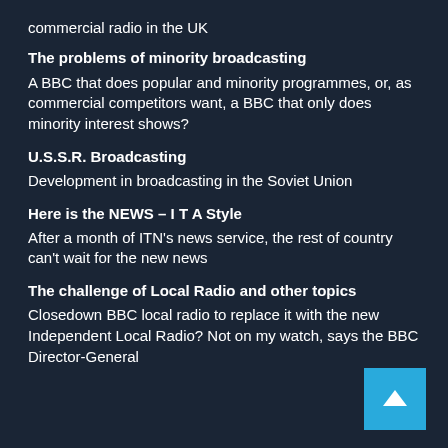commercial radio in the UK
The problems of minority broadcasting
A BBC that does popular and minority programmes, or, as commercial competitors want, a BBC that only does minority interest shows?
U.S.S.R. Broadcasting
Development in broadcasting in the Soviet Union
Here is the NEWS – I T A Style
After a month of ITN's news service, the rest of country can't wait for the new news
The challenge of Local Radio and other topics
Closedown BBC local radio to replace it with the new Independent Local Radio? Not on my watch, says the BBC Director-General